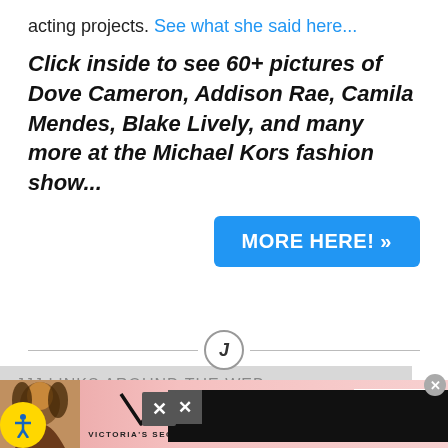acting projects. See what she said here...
Click inside to see 60+ pictures of Dove Cameron, Addison Rae, Camila Mendes, Blake Lively, and many more at the Michael Kors fashion show...
MORE HERE! »
JJJ LINKS AROUND THE WEB
Is ther
[Figure (photo): Victoria's Secret advertisement showing a model with curly hair, VS logo, SHOP THE COLLECTION text, and SHOP NOW button on a pink gradient background]
SHOP THE COLLECTION
SHOP NOW